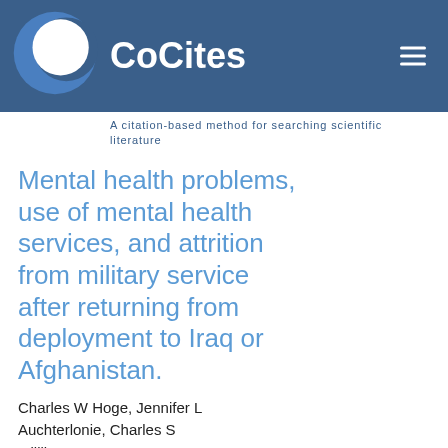[Figure (logo): CoCites logo: blue crescent moon circle with white interior on dark blue header bar, with 'CoCites' text and hamburger menu icon]
A citation-based method for searching scientific literature
Mental health problems, use of mental health services, and attrition from military service after returning from deployment to Iraq or Afghanistan.
Charles W Hoge, Jennifer L Auchterlonie, Charles S Milliken. JAMA 2006
Times Cited: 1079